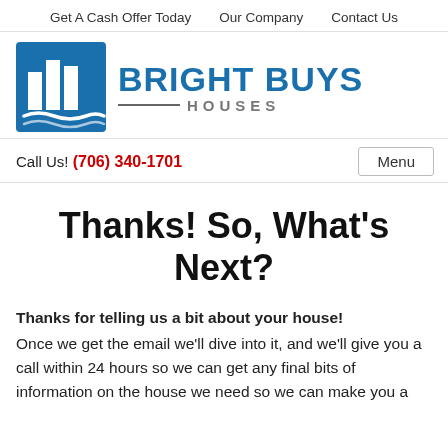Get A Cash Offer Today   Our Company   Contact Us
[Figure (logo): Bright Buys Houses logo with blue building/bar chart icon and company name in bold blue text with HOUSES subtitle]
Call Us! (706) 340-1701   Menu
Thanks! So, What's Next?
Thanks for telling us a bit about your house! Once we get the email we'll dive into it, and we'll give you a call within 24 hours so we can get any final bits of information on the house we need so we can make you a